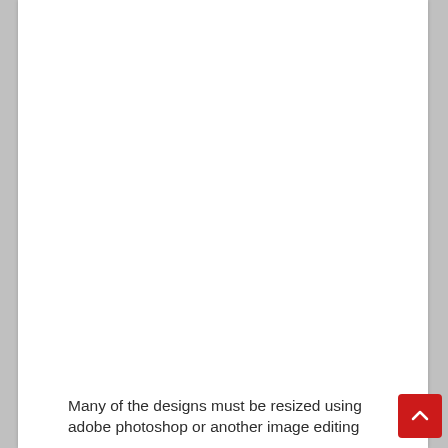Many of the designs must be resized using adobe photoshop or another image editing
[Figure (other): Red scroll-to-top button with upward chevron arrow in the bottom-right corner]